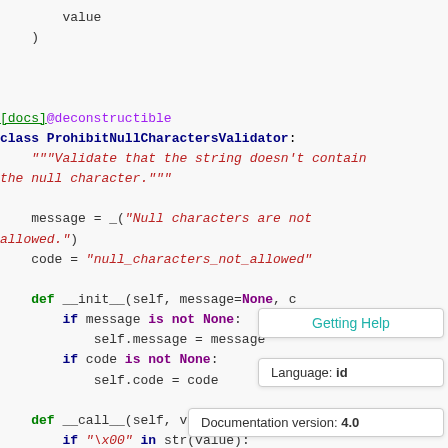Code block showing Python class ProhibitNullCharactersValidator with docs decorator, docstring, message, code attributes, __init__ and __call__ methods
[Figure (screenshot): Tooltip UI showing 'Getting Help' button, 'Language: id' selector, and 'Documentation version: 4.0' footer]